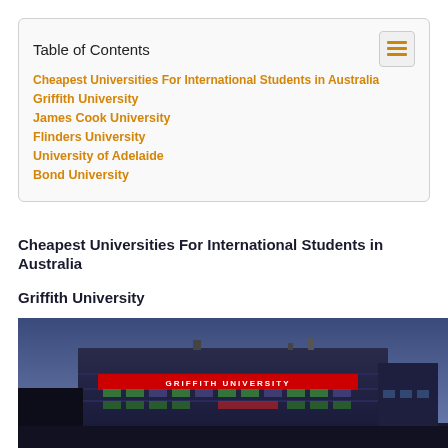Table of Contents
Cheapest Universities For International Students in Australia
Griffith University
James Cook University
Flinders University
University of Adelaide
Bond University
Cheapest Universities For International Students in Australia
Griffith University
[Figure (photo): Exterior night photo of Griffith University building with illuminated red sign reading GRIFFITH UNIVERSITY]